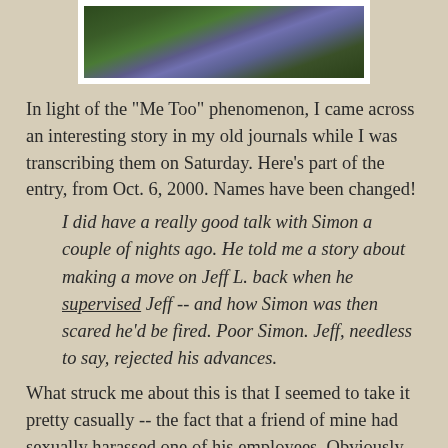[Figure (photo): Close-up photo of purple/blue flowers with green foliage, framed in white]
In light of the "Me Too" phenomenon, I came across an interesting story in my old journals while I was transcribing them on Saturday. Here's part of the entry, from Oct. 6, 2000. Names have been changed!
I did have a really good talk with Simon a couple of nights ago. He told me a story about making a move on Jeff L. back when he supervised Jeff -- and how Simon was then scared he'd be fired. Poor Simon. Jeff, needless to say, rejected his advances.
What struck me about this is that I seemed to take it pretty casually -- the fact that a friend of mine had sexually harassed one of his employees. Obviously, in talking about it at the time, we both knew it was wrong. I was aware of the hazards of getting involved with anyone I worked with, and I